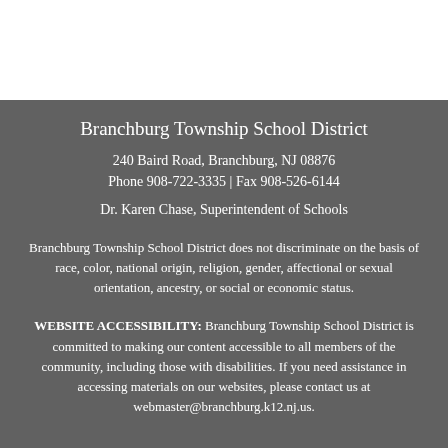Branchburg Township School District
240 Baird Road, Branchburg, NJ 08876
Phone 908-722-3335 | Fax 908-526-6144
Dr. Karen Chase, Superintendent of Schools
Branchburg Township School District does not discriminate on the basis of race, color, national origin, religion, gender, affectional or sexual orientation, ancestry, or social or economic status.
WEBSITE ACCESSIBILITY: Branchburg Township School District is committed to making our content accessible to all members of the community, including those with disabilities. If you need assistance in accessing materials on our websites, please contact us at webmaster@branchburg.k12.nj.us.